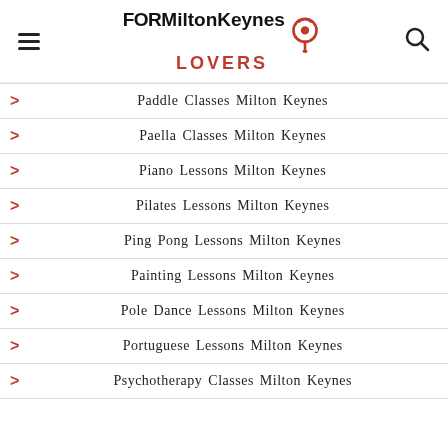FOR Milton Keynes LOVERS
Paddle Classes Milton Keynes
Paella Classes Milton Keynes
Piano Lessons Milton Keynes
Pilates Lessons Milton Keynes
Ping Pong Lessons Milton Keynes
Painting Lessons Milton Keynes
Pole Dance Lessons Milton Keynes
Portuguese Lessons Milton Keynes
Psychotherapy Classes Milton Keynes